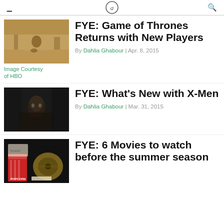navigation header with hamburger menu, logo, and search icon
[Figure (photo): Game of Thrones scene outdoors in desert-like setting with a warrior figure]
Image Courtesy of HBO
FYE: Game of Thrones Returns with New Players
By Dahlia Ghabour | Apr. 8, 2015
[Figure (photo): Dark-haired man in leather jacket looking to the side — appears to be X-Men related]
FYE: What's New with X-Men
By Dahlia Ghabour | Mar. 31, 2015
[Figure (photo): Popcorn bucket, film reel, movie tickets, and a phone against dark background]
FYE: 6 Movies to watch before the summer season